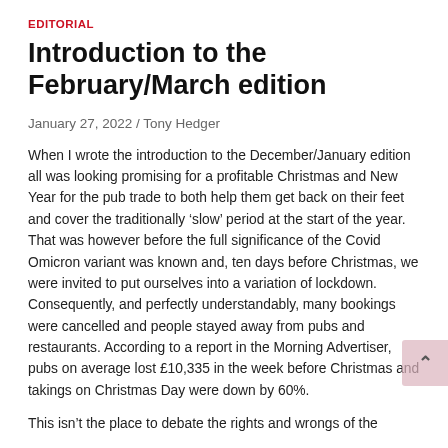EDITORIAL
Introduction to the February/March edition
January 27, 2022 / Tony Hedger
When I wrote the introduction to the December/January edition all was looking promising for a profitable Christmas and New Year for the pub trade to both help them get back on their feet and cover the traditionally ‘slow’ period at the start of the year. That was however before the full significance of the Covid Omicron variant was known and, ten days before Christmas, we were invited to put ourselves into a variation of lockdown. Consequently, and perfectly understandably, many bookings were cancelled and people stayed away from pubs and restaurants. According to a report in the Morning Advertiser, pubs on average lost £10,335 in the week before Christmas and takings on Christmas Day were down by 60%.
This isn’t the place to debate the rights and wrongs of the